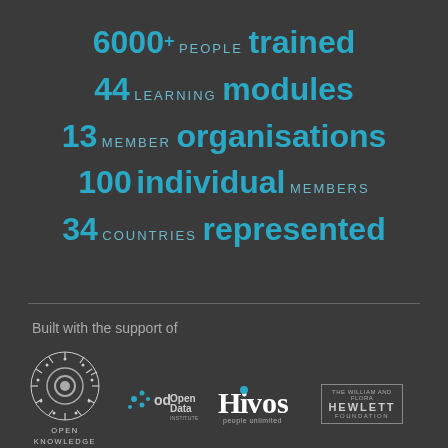6000+ PEOPLE trained
44 LEARNING modules
13 MEMBER organisations
100 individual MEMBERS
34 COUNTRIES represented
Built with the support of
[Figure (logo): Open Knowledge Foundation logo — circular sun-like emblem with text OPEN KNOWLEDGE FOUNDATION below]
[Figure (logo): OpenData Institute logo — circular dots icon with OpenData text]
[Figure (logo): Hivos people unlimited logo — bold white text]
[Figure (logo): The William and Flora Hewlett Foundation logo in a rectangle border]